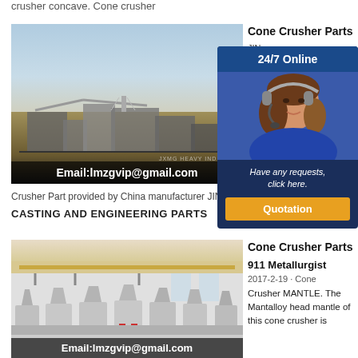crusher concave. Cone crusher
[Figure (photo): Industrial cone crusher machinery outdoors with blue sky background, email lmzgvip@gmail.com overlay]
Crusher Part provided by China manufacturer JIN... CASTING AND ENGINEERING PARTS
Cone Crusher Parts
JIN...
CAS...
Chi...
Par...
Cru...
10F...
[Figure (photo): Chat widget with 24/7 Online header, female customer service agent with headset, dark blue background]
Have any requests, click here.
Quotation
[Figure (photo): Indoor factory floor with multiple large cone crushers lined up, email lmzgvip@gmail.com overlay]
Cone Crusher Parts
911 Metallurgist
2017-2-19 · Cone Crusher MANTLE. The Mantalloy head mantle of this cone crusher is